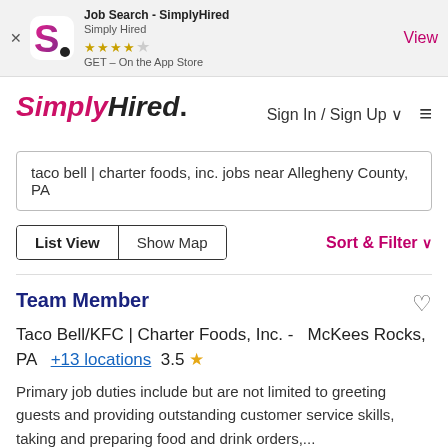[Figure (screenshot): App store banner for Job Search - SimplyHired app showing logo, star rating, and View button]
SimplyHired.
Sign In / Sign Up ▾
taco bell | charter foods, inc. jobs near Allegheny County, PA
List View   Show Map   Sort & Filter ▾
Team Member
Taco Bell/KFC | Charter Foods, Inc. -   McKees Rocks, PA   +13 locations  3.5 ★
Primary job duties include but are not limited to greeting guests and providing outstanding customer service skills, taking and preparing food and drink orders,...